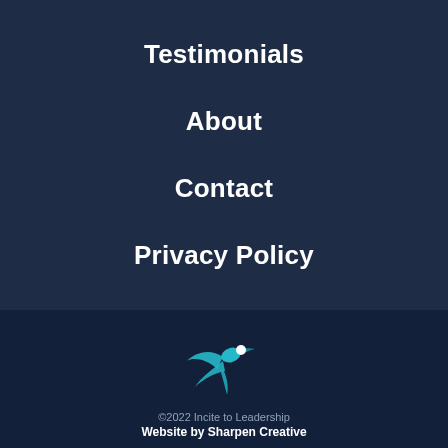Testimonials
About
Contact
Privacy Policy
[Figure (logo): Incite to Leadership logo: a stylized hummingbird in teal/cyan with a white dot, dynamic swooping shape]
©2022 Incite to Leadership
Website by Sharpen Creative